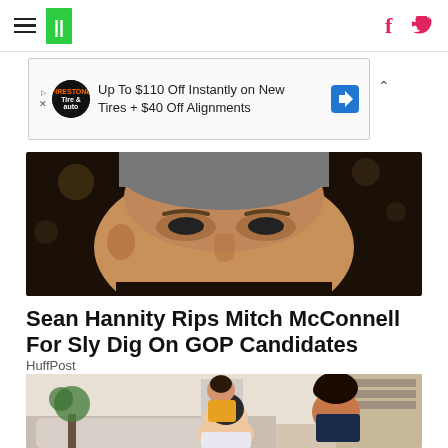HuffPost navigation with hamburger menu and social icons
[Figure (screenshot): Advertisement banner: Up To $110 Off Instantly on New Tires + $40 Off Alignments, with Firestone auto logo and blue direction arrow icon]
[Figure (photo): Close-up of Sean Hannity's face against dark background]
Sean Hannity Rips Mitch McConnell For Sly Dig On GOP Candidates
HuffPost
[Figure (photo): Family of three: father, mother, and young son in yellow shirt smiling together in a living room]